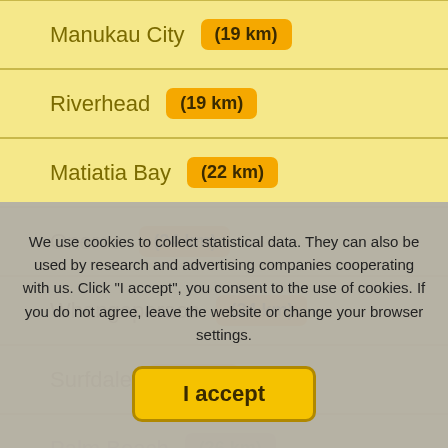Manukau City (19 km)
Riverhead (19 km)
Matiatia Bay (22 km)
Oneroa (24 km)
Whangaparaoa (24 km)
Surfdale (25 km)
Palm Beach (26 km)
Ostend (26 km)
Omiha (27 km)
We use cookies to collect statistical data. They can also be used by research and advertising companies cooperating with us. Click "I accept", you consent to the use of cookies. If you do not agree, leave the website or change your browser settings.